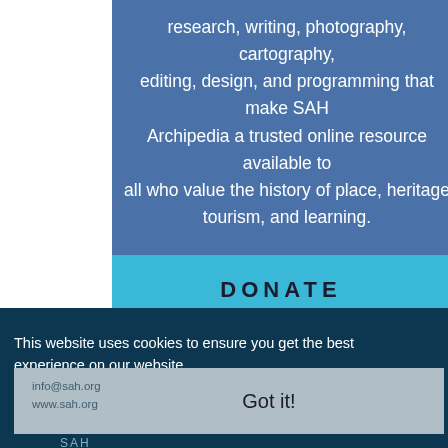research, writing, photography, cartography, editing, design, and programming that make SAH Archipedia a trusted online resource available to all who value the history of place, heritage tourism, and learning.
DONATE
This website uses cookies to ensure you get the best experience on our website.
CONTACT
Got it!
info@sah.org
www.sah.org
SAH
1365 North Astor St.